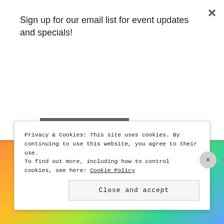Sign up for our email list for event updates and specials!
Subscribe
[Figure (logo): Beauty & bodywork circular badge logo with light blue rosette border, silver metallic center, stylized blue lotus/leaf icon, and curved text reading 'beauty & bodywork' around the top arc, on a colorful patterned background]
Privacy & Cookies: This site uses cookies. By continuing to use this website, you agree to their use. To find out more, including how to control cookies, see here: Cookie Policy
Close and accept